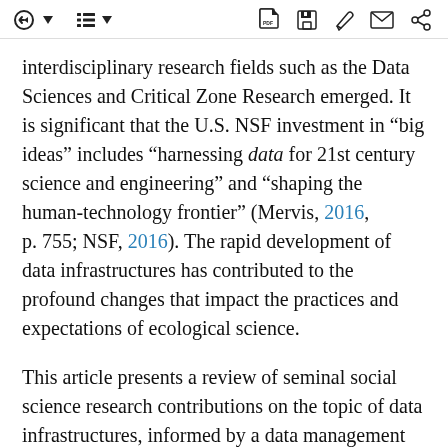toolbar with navigation and action icons
interdisciplinary research fields such as the Data Sciences and Critical Zone Research emerged. It is significant that the U.S. NSF investment in “big ideas” includes “harnessing data for 21st century science and engineering” and “shaping the human-technology frontier” (Mervis, 2016, p. 755; NSF, 2016). The rapid development of data infrastructures has contributed to the profound changes that impact the practices and expectations of ecological science.
This article presents a review of seminal social science research contributions on the topic of data infrastructures, informed by a data management perspective. It draws mainly from the STS subfield of Infrastructure Studies that has shaped current